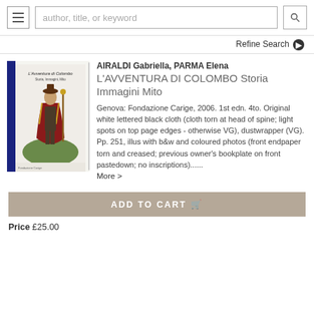author, title, or keyword
Refine Search
[Figure (photo): Book cover of L'Avventura di Colombo showing a figure in historical dress with red and gold cape]
AIRALDI Gabriella, PARMA Elena
L'AVVENTURA DI COLOMBO Storia Immagini Mito
Genova: Fondazione Carige, 2006. 1st edn. 4to. Original white lettered black cloth (cloth torn at head of spine; light spots on top page edges - otherwise VG), dustwrapper (VG). Pp. 251, illus with b&w and coloured photos (front endpaper torn and creased; previous owner's bookplate on front pastedown; no inscriptions)...... More >
ADD TO CART
Price £25.00